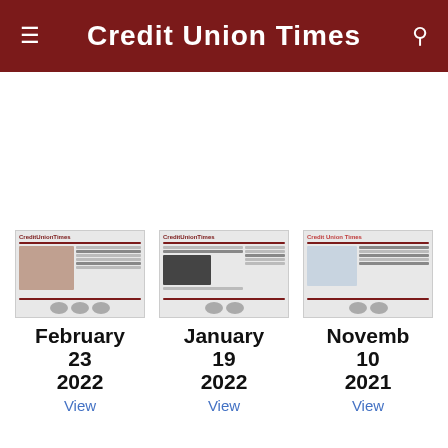Credit Union Times
[Figure (screenshot): Thumbnail of Credit Union Times issue cover dated February 23 2022]
February
23
2022
View
[Figure (screenshot): Thumbnail of Credit Union Times issue cover dated January 19 2022]
January
19
2022
View
[Figure (screenshot): Thumbnail of Credit Union Times issue cover dated November 10 2021]
Novemb
10
2021
View